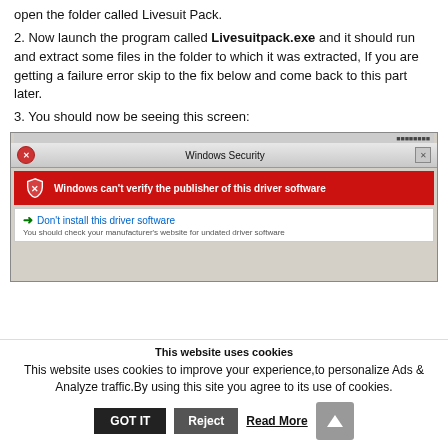open the folder called Livesuit Pack.
2. Now launch the program called Livesuitpack.exe and it should run and extract some files in the folder to which it was extracted, If you are getting a failure error skip to the fix below and come back to this part later.
3. You should now be seeing this screen:
[Figure (screenshot): Windows Security dialog showing 'Windows can't verify the publisher of this driver software' warning with a red banner and option 'Don't install this driver software']
This website uses cookies
This website uses cookies to improve your experience,to personalize Ads & Analyze traffic.By using this site you agree to its use of cookies.
GOT IT   Reject   Read More